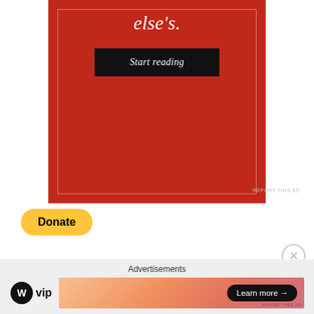[Figure (other): Advertisement banner with red background showing italic text 'else's.' and a dark 'Start reading' button]
REPORT THIS AD
[Figure (other): PayPal Donate button with yellow pill shape]
Advertisements
[Figure (logo): WordPress VIP logo (W circle + VIP text)]
[Figure (other): Advertisement banner with pink/orange gradient and 'Learn more →' button]